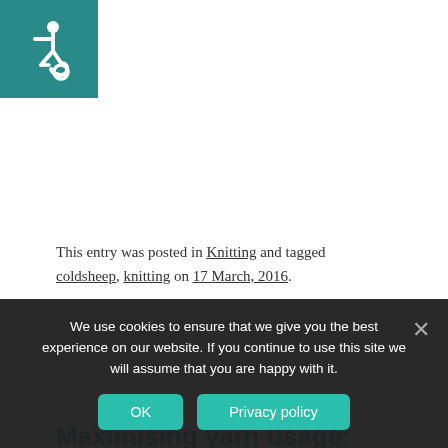[Figure (logo): Accessibility wheelchair icon in white on teal/dark cyan background square]
This entry was posted in Knitting and tagged coldsheep, knitting on 17 March, 2016.
Maximising yarn usage: working top down
We use cookies to ensure that we give you the best experience on our website. If you continue to use this site we will assume that you are happy with it.